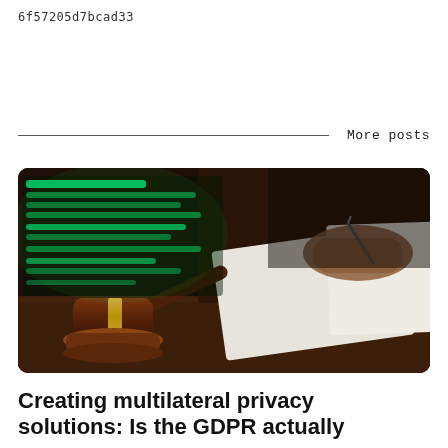6f57205d7bcad33
More posts
[Figure (photo): A judge's gavel resting on a wooden surface in the foreground, with a person writing on paper in the background, and a glowing green digital text overlay on the left side of the image.]
Creating multilateral privacy solutions: Is the GDPR actually